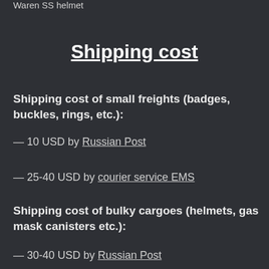Waren SS helmet
Shipping cost
Shipping cost of small freights (badges, buckles, rings, etc.):
— 10 USD by Russian Post
— 25-40 USD by courier service EMS
Shipping cost of bulky cargoes (helmets, gas mask canisters etc.):
— 30-40 USD by Russian Post